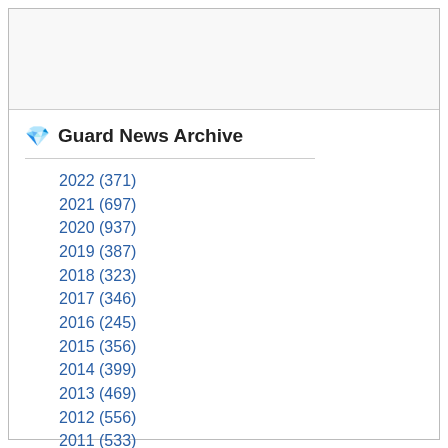Guard News Archive
2022 (371)
2021 (697)
2020 (937)
2019 (387)
2018 (323)
2017 (346)
2016 (245)
2015 (356)
2014 (399)
2013 (469)
2012 (556)
2011 (533)
2010 (1071)
2009 (357)
2008 (638)
2007 (295)
2006 (188)